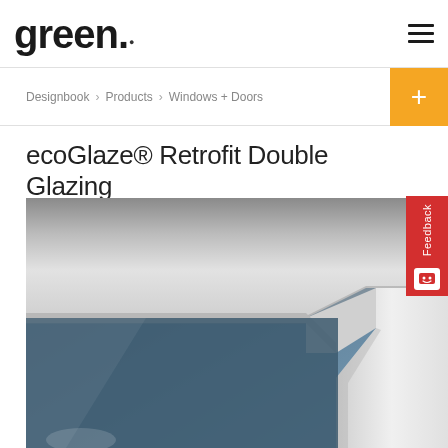green.
Designbook > Products > Windows + Doors
ecoGlaze® Retrofit Double Glazing
[Figure (photo): Close-up photograph of a window or door frame corner detail showing grey aluminium/uPVC double glazing frame against a blue background, viewed from an interior angle.]